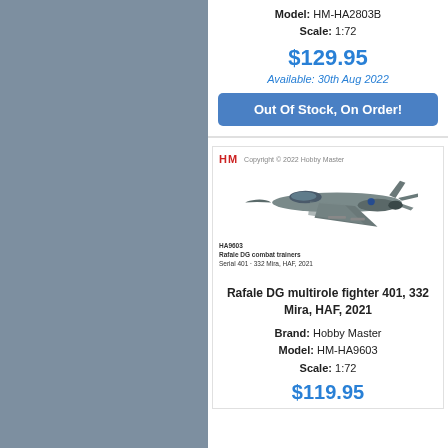Model: HM-HA2803B
Scale: 1:72
$129.95
Available: 30th Aug 2022
Out Of Stock, On Order!
[Figure (photo): Hobby Master Rafale DG multirole fighter model airplane, serial 401, 332 Mira, HAF, 2021, product HA9603]
Rafale DG multirole fighter 401, 332 Mira, HAF, 2021
Brand: Hobby Master
Model: HM-HA9603
Scale: 1:72
$119.95